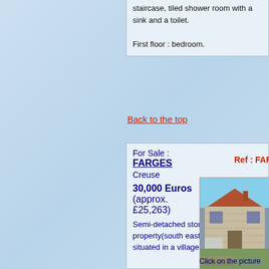staircase, tiled shower room with a sink and a toilet.

First floor : bedroom.
Back to the top
For Sale :
FARGES
Creuse
Ref : FARGES
30,000 Euros (approx. £25,263)
Semi-detached stone and tiled property(south east facing;84 sqm), situated in a village not too
[Figure (photo): Exterior photo of a semi-detached stone and tiled house with a red/terracotta roof, white/stone walls, and a garden area in the foreground.]
Click on the picture